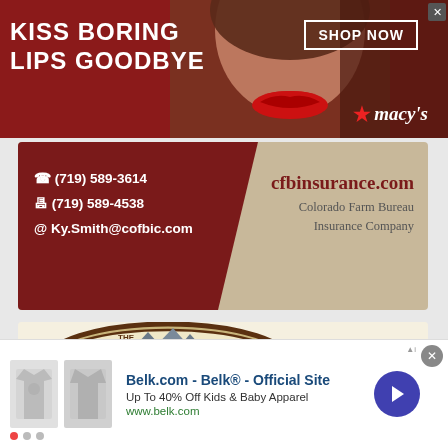[Figure (photo): Macy's advertisement banner — 'KISS BORING LIPS GOODBYE' with a close-up photo of a woman's face with red lips, 'SHOP NOW' button, and Macy's star logo on dark red background]
[Figure (infographic): CFB Insurance business card ad — phone (719) 589-3614, fax (719) 589-4538, email Ky.Smith@cofbic.com, website cfbinsurance.com, Colorado Farm Bureau Insurance Company — maroon and tan design]
[Figure (infographic): The Polished Edge granite company ad — oval logo with mountains, tagline 'Take us for Granite', address 1935 Grand Ave. Monte Vista, phone 719-852-6939, photo of granite countertop]
[Figure (infographic): Belk.com display advertisement — 'Belk® - Official Site', 'Up To 40% Off Kids & Baby Apparel', www.belk.com, with clothing thumbnail images and a blue arrow button]